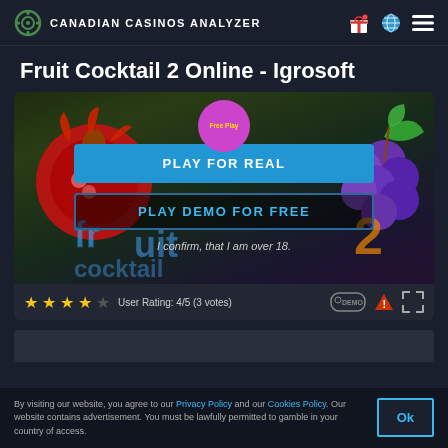CANADIAN CASINOS ANALYZER
Fruit Cocktail 2 Online - Igrosoft
[Figure (screenshot): Fruit Cocktail 2 slot game interface with fruit-themed background showing a pomegranate and grapes. Center overlay shows a purple circular badge labeled 'Free Play', a blue 'PLAY FOR REAL' button, a dark outlined 'PLAY DEMO FOR FREE' button, and italic text 'I confirm, that I am over 18.' Bottom bar shows 4 yellow stars and 1 gray star, 'User Rating: 4/5 (3 votes)', and DEMO, warning, and expand icons.]
By visiting our website, you agree to our Privacy Policy and our Cookies Policy. Our website contains advertisement. You must be lawfully permitted to gamble in your country of access.